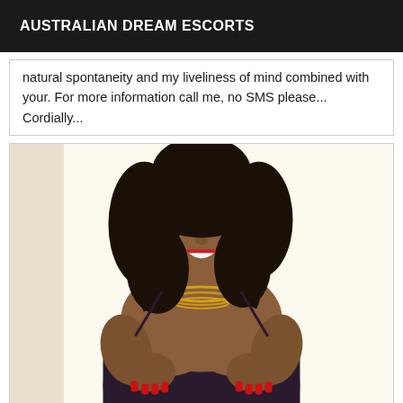AUSTRALIAN DREAM ESCORTS
natural spontaneity and my liveliness of mind combined with your. For more information call me, no SMS please... Cordially...
[Figure (photo): Woman with long dark curly hair, wearing teal tassel earrings, gold necklace, and lace bodysuit, posing and smiling with red lipstick and red nails.]